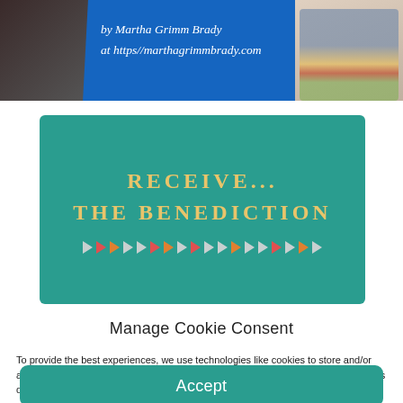[Figure (photo): Top banner showing a person with a microphone (left portion) and another person in a denim jacket (right), with blue banner section reading 'by Martha Grimm Brady at https://marthagrimmbrady.com']
[Figure (infographic): Teal/green rectangular banner reading 'RECEIVE... THE BENEDICTION' in yellow serif font, with a row of colorful arrow chevrons below]
Manage Cookie Consent
To provide the best experiences, we use technologies like cookies to store and/or access device information. Consenting to these technologies will allow us to process data such as browsing behavior or unique IDs on this site. Not consenting or withdrawing consent, may adversely affect certain features and functions.
Accept